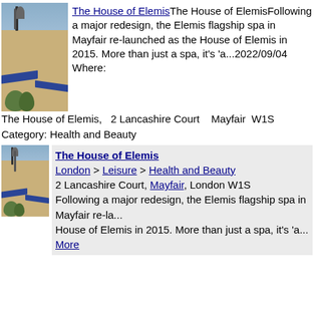[Figure (photo): Photo of The House of Elemis building exterior, brick building with blue awnings]
The House of ElemisThe House of ElemisFollowing a major redesign, the Elemis flagship spa in Mayfair re-launched as the House of Elemis in 2015. More than just a spa, it's 'a...2022/09/04 Where:
The House of Elemis,   2 Lancashire Court   Mayfair  W1S
Category: Health and Beauty
[Figure (photo): Second photo of The House of Elemis building exterior, brick building with blue awnings]
The House of Elemis
London > Leisure > Health and Beauty
2 Lancashire Court, Mayfair, London W1S
Following a major redesign, the Elemis flagship spa in Mayfair re-la...
House of Elemis in 2015. More than just a spa, it's 'a... More